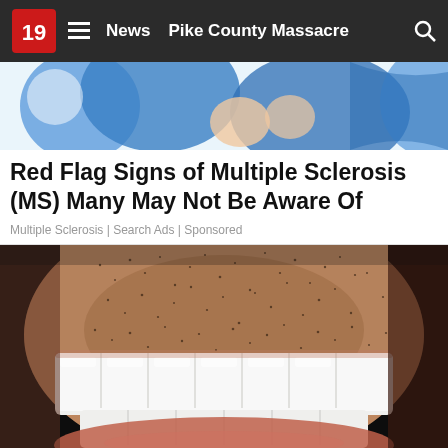19 News Pike County Massacre
[Figure (illustration): Top portion of a health/medical illustration showing a cartoon figure in blue]
Red Flag Signs of Multiple Sclerosis (MS) Many May Not Be Aware Of
Multiple Sclerosis | Search Ads | Sponsored
[Figure (photo): Close-up photo of a man's smile showing bright white teeth with stubble/beard]